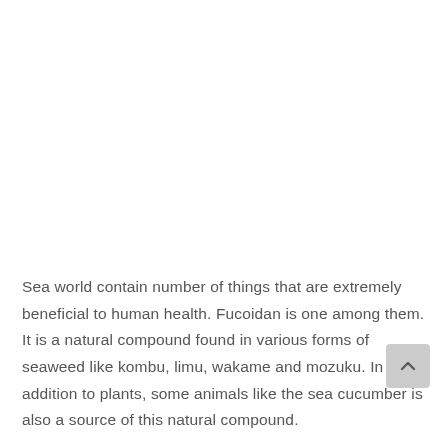Sea world contain number of things that are extremely beneficial to human health. Fucoidan is one among them. It is a natural compound found in various forms of seaweed like kombu, limu, wakame and mozuku. In addition to plants, some animals like the sea cucumber is also a source of this natural compound.